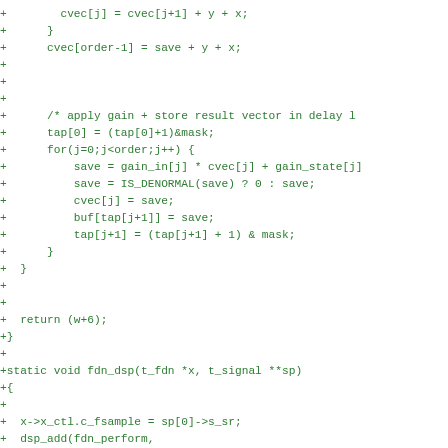Code diff showing C code for fdn_dsp and fdn_perform functions including cvec, tap, gain, buf operations